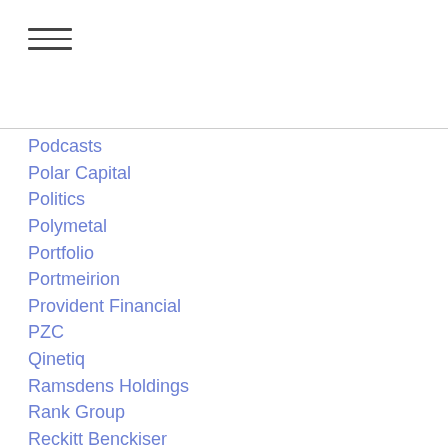Podcasts
Polar Capital
Politics
Polymetal
Portfolio
Portmeirion
Provident Financial
PZC
Qinetiq
Ramsdens Holdings
Rank Group
Reckitt Benckiser
Renewable Energy
Renew Holdings
Renishaw
Research Papers
Restaurant Group
Retailers